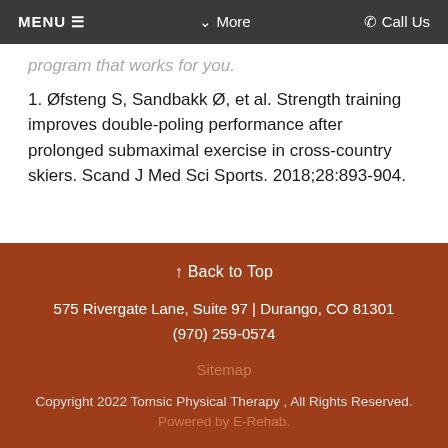MENU ≡   ˅ More   ☎ Call Us
program that works for you.
1. Øfsteng S, Sandbakk Ø, et al. Strength training improves double-poling performance after prolonged submaximal exercise in cross-country skiers. Scand J Med Sci Sports. 2018;28:893-904.
↑ Back to Top
575 Rivergate Lane, Suite 97 | Durango, CO 81301
(970) 259-0574
Sitemap
Copyright 2022 Tomsic Physical Therapy , All Rights Reserved. Powered by E-Rehab.